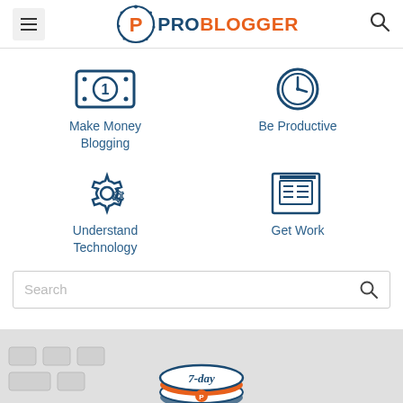[Figure (logo): ProBlogger logo with circular P icon, PRO in dark blue, BLOGGER in orange]
Make Money Blogging
Be Productive
Understand Technology
Get Work
Search
[Figure (screenshot): Partial screenshot of a 7-day badge/logo at the bottom]